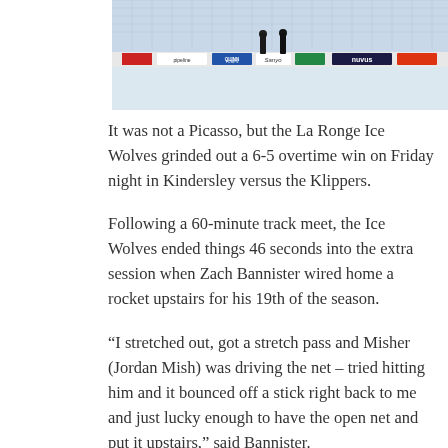[Figure (photo): Hockey rink interior photo showing ice surface with two figures walking on it, arena boards with sponsor advertisements including Quinn Pumps, Sanyo, nuvus, and pipeline brands visible in background]
It was not a Picasso, but the La Ronge Ice Wolves grinded out a 6-5 overtime win on Friday night in Kindersley versus the Klippers.
Following a 60-minute track meet, the Ice Wolves ended things 46 seconds into the extra session when Zach Bannister wired home a rocket upstairs for his 19th of the season.
“I stretched out, got a stretch pass and Misher (Jordan Mish) was driving the net – tried hitting him and it bounced off a stick right back to me and just lucky enough to have the open net and put it upstairs,” said Bannister.
The Ice Wolves got off to a blistering start Friday and